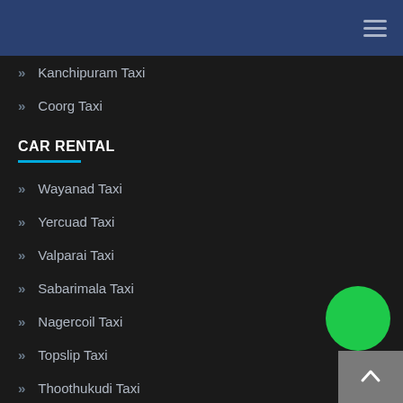Kanchipuram Taxi
Coorg Taxi
CAR RENTAL
Wayanad Taxi
Yercuad Taxi
Valparai Taxi
Sabarimala Taxi
Nagercoil Taxi
Topslip Taxi
Thoothukudi Taxi
Tirunelveli Taxi
Puducherry Taxi
Pollachi Taxi